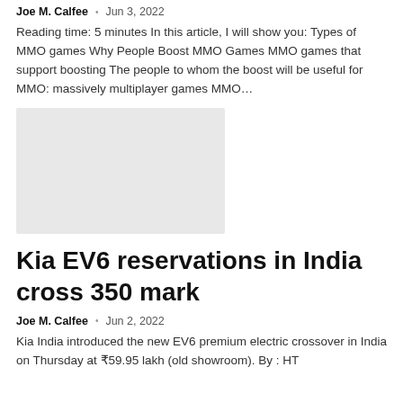Joe M. Calfee  •  Jun 3, 2022
Reading time: 5 minutes In this article, I will show you: Types of MMO games Why People Boost MMO Games MMO games that support boosting The people to whom the boost will be useful for MMO: massively multiplayer games MMO…
[Figure (photo): Placeholder image (light grey rectangle)]
Kia EV6 reservations in India cross 350 mark
Joe M. Calfee  •  Jun 2, 2022
Kia India introduced the new EV6 premium electric crossover in India on Thursday at ₹59.95 lakh (old showroom). By : HT